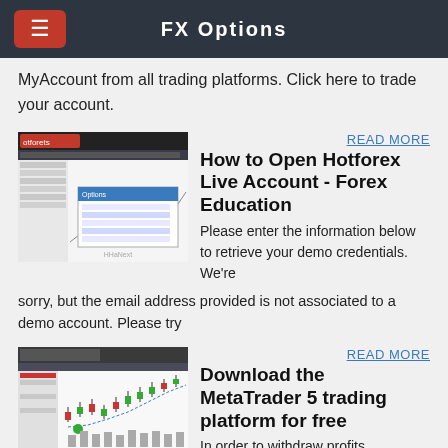FX Options
MyAccount from all trading platforms. Click here to trade your account.
[Figure (screenshot): Screenshot of Hotforex trading platform interface showing charts and a dialog box]
READ MORE
How to Open Hotforex Live Account - Forex Education
Please enter the information below to retrieve your demo credentials. We're sorry, but the email address provided is not associated to a demo account. Please try
[Figure (screenshot): Screenshot of MetaTrader 5 trading platform interface showing candlestick chart]
READ MORE
Download the MetaTrader 5 trading platform for free
In order to withdraw profits generated